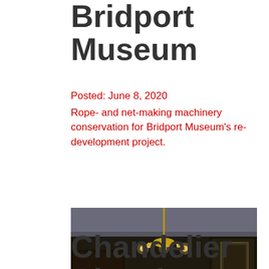Bridport Museum
Posted: June 8, 2020
Rope- and net-making machinery conservation for Bridport Museum's re-development project.
[Figure (photo): Interior room photo showing a brass chandelier with candle-style lights hanging from a ceiling with decorative molding, in a dark wood-paneled room]
Chandelier Cleaning